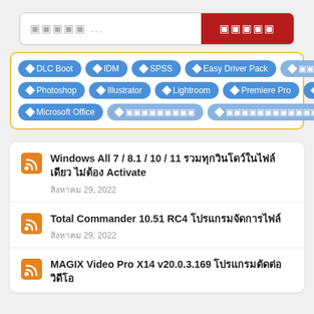[Figure (screenshot): Search bar with placeholder text and red search button]
[Figure (screenshot): Tag cloud with blue pill-shaped tags: DLC Boot, IDM, SPSS, Easy Driver Pack, [Thai text], Acrobat, Photoshop, Illustrator, Lightroom, Premiere Pro, After Effects, Microsoft Office, [Thai tags], Adobe]
Windows All 7 / 8.1 / 10 / 11 รวมทุกวินโดว์ในไฟล์เดียว ไม่ต้อง Activate
สิงหาคม 29, 2022
Total Commander 10.51 RC4 โปรแกรมจัดการไฟล์
สิงหาคม 29, 2022
MAGIX Video Pro X14 v20.0.3.169 โปรแกรมตัดต่อวิดีโอ